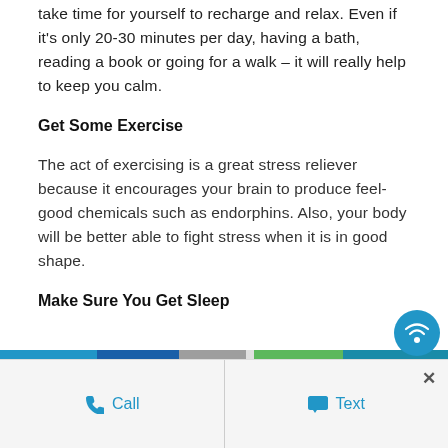take time for yourself to recharge and relax. Even if it's only 20-30 minutes per day, having a bath, reading a book or going for a walk – it will really help to keep you calm.
Get Some Exercise
The act of exercising is a great stress reliever because it encourages your brain to produce feel-good chemicals such as endorphins. Also, your body will be better able to fight stress when it is in good shape.
Make Sure You Get Sleep
Call   Text